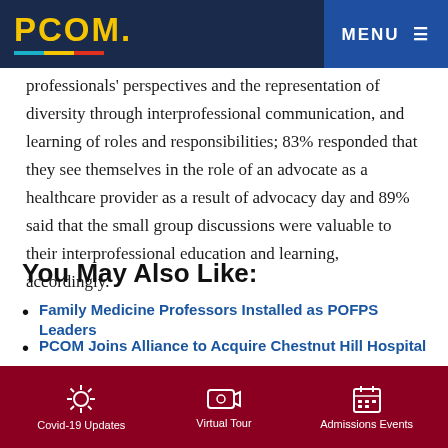PCOM. MENU
professionals' perspectives and the representation of diversity through interprofessional communication, and learning of roles and responsibilities; 83% responded that they see themselves in the role of an advocate as a healthcare provider as a result of advocacy day and 89% said that the small group discussions were valuable to their interprofessional education and learning, accordingly.
You May Also Like:
Family Medicine Professors Installed as POFPS Leaders
PCOM Joins Alliance to Acquire Chestnut Hill Hospital
PCOM Celebrates 80th Annual Graduate Re...
Covid-19 Updates   Virtual Tour   Admissions Events